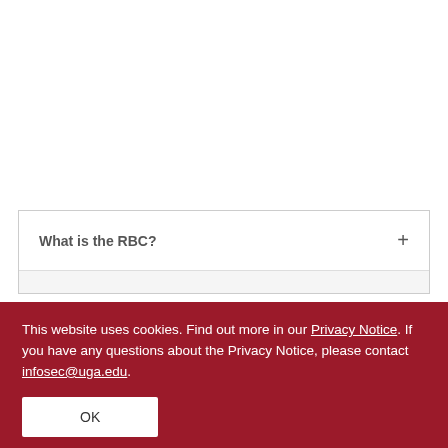What is the RBC?
This website uses cookies. Find out more in our Privacy Notice. If you have any questions about the Privacy Notice, please contact infosec@uga.edu.